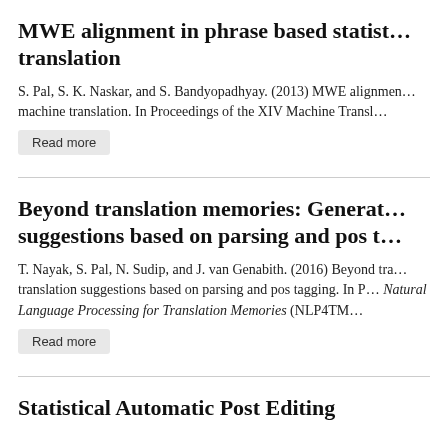MWE alignment in phrase based statistical machine translation
S. Pal, S. K. Naskar, and S. Bandyopadhyay. (2013) MWE alignment in phrase based statistical machine translation. In Proceedings of the XIV Machine Transl…
Read more
Beyond translation memories: Generating translation suggestions based on parsing and pos tagging
T. Nayak, S. Pal, N. Sudip, and J. van Genabith. (2016) Beyond translation suggestions based on parsing and pos tagging. In Proceedings of the Workshop on Natural Language Processing for Translation Memories (NLP4TM…
Read more
Statistical Automatic Post Editing